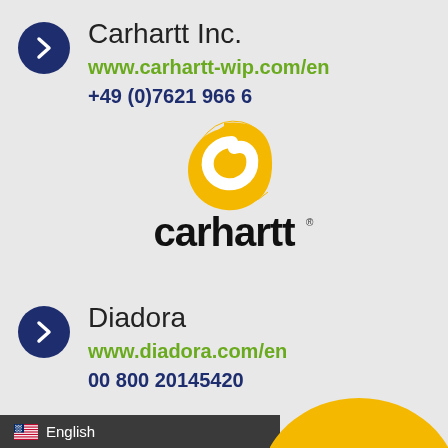Carhartt Inc.
www.carhartt-wip.com/en
+49 (0)7621 966 6
[Figure (logo): Carhartt logo: golden C shape with white spiral and 'carhartt' text in black below]
Diadora
www.diadora.com/en
00 800 20145420
English